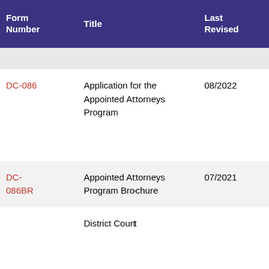| Form Number | Title | Last Revised | Copies to Court | N... |
| --- | --- | --- | --- | --- |
| DC-086 | Application for the Appointed Attorneys Program | 08/2022 |  | U... w... F ... m... i... N... |
| DC-086BR | Appointed Attorneys Program Brochure | 07/2021 |  |  |
|  | District Court... |  |  | U... |